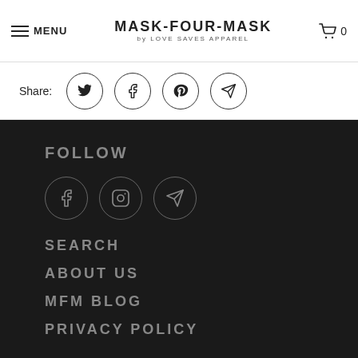MENU | MASK-FOUR-MASK by LOVE SAVES APPAREL | 0
Share:
FOLLOW
[Figure (other): Social media icons: Facebook, Instagram, Telegram]
SEARCH
ABOUT US
MFM BLOG
PRIVACY POLICY